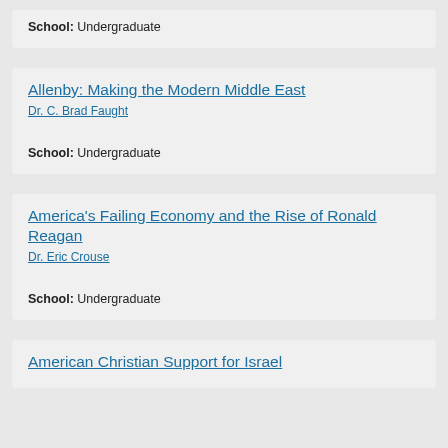School: Undergraduate
Allenby: Making the Modern Middle East
Dr. C. Brad Faught
School: Undergraduate
America's Failing Economy and the Rise of Ronald Reagan
Dr. Eric Crouse
School: Undergraduate
American Christian Support for Israel